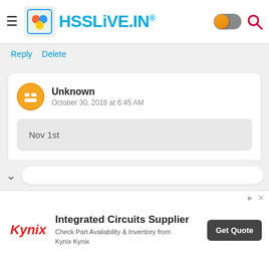HSSLiVE.IN®
Reply  Delete
Unknown
October 30, 2018 at 6:45 AM
Nov 1st
Delete
[Figure (screenshot): Advertisement banner for Kynix Integrated Circuits Supplier with Get Quote button]